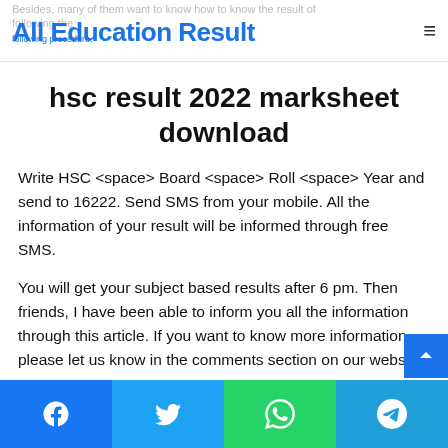All Education Result
hsc result 2022 marksheet download
Write HSC <space> Board <space> Roll <space> Year and send to 16222. Send SMS from your mobile. All the information of your result will be informed through free SMS.
You will get your subject based results after 6 pm. Then friends, I have been able to inform you all the information through this article. If you want to know more information, please let us know in the comments section on our website